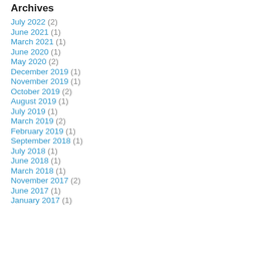Archives
July 2022 (2)
June 2021 (1)
March 2021 (1)
June 2020 (1)
May 2020 (2)
December 2019 (1)
November 2019 (1)
October 2019 (2)
August 2019 (1)
July 2019 (1)
March 2019 (2)
February 2019 (1)
September 2018 (1)
July 2018 (1)
June 2018 (1)
March 2018 (1)
November 2017 (2)
June 2017 (1)
January 2017 (1)